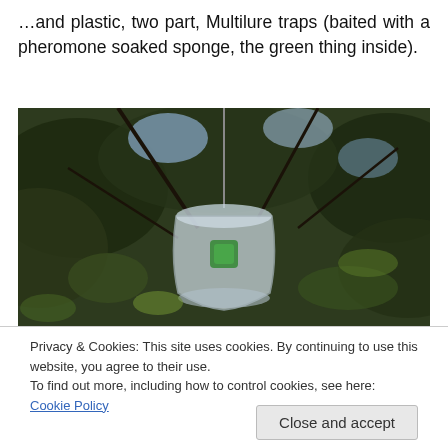…and plastic, two part, Multilure traps (baited with a pheromone soaked sponge, the green thing inside).
[Figure (photo): A clear plastic two-part Multilure trap hanging in a tree, with a green pheromone-soaked sponge visible inside, surrounded by green foliage and branches.]
Privacy & Cookies: This site uses cookies. By continuing to use this website, you agree to their use.
To find out more, including how to control cookies, see here: Cookie Policy
Close and accept